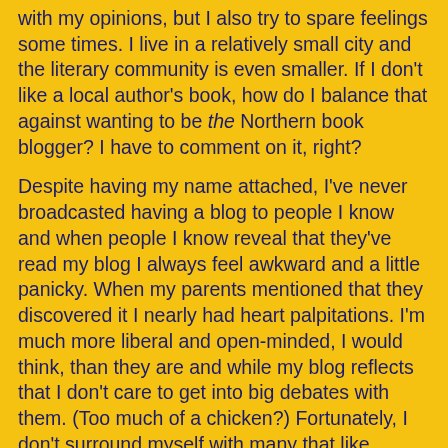with my opinions, but I also try to spare feelings some times. I live in a relatively small city and the literary community is even smaller. If I don't like a local author's book, how do I balance that against wanting to be the Northern book blogger? I have to comment on it, right?
Despite having my name attached, I've never broadcasted having a blog to people I know and when people I know reveal that they've read my blog I always feel awkward and a little panicky. When my parents mentioned that they discovered it I nearly had heart palpitations. I'm much more liberal and open-minded, I would think, than they are and while my blog reflects that I don't care to get into big debates with them. (Too much of a chicken?) Fortunately, I don't surround myself with many that like discussing books as much as I do, and very quickly such acquaintances lose interest in my blog and I rest a little easier. My mother's only comment was that I like to use "big words." She's not mentioned it again in years.
Even with this awareness of outside readers and associated possible repercussions, I've had moments that I'm not proud